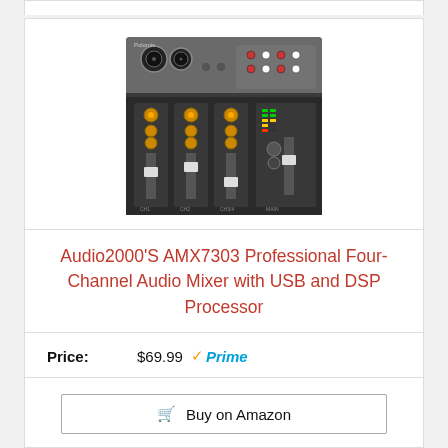[Figure (photo): Audio mixer product photo - Audio2000's AMX7303 professional four-channel audio mixer, dark gray hardware device with faders, knobs, and XLR inputs]
Audio2000'S AMX7303 Professional Four-Channel Audio Mixer with USB and DSP Processor
Price: $69.99 Prime
Buy on Amazon